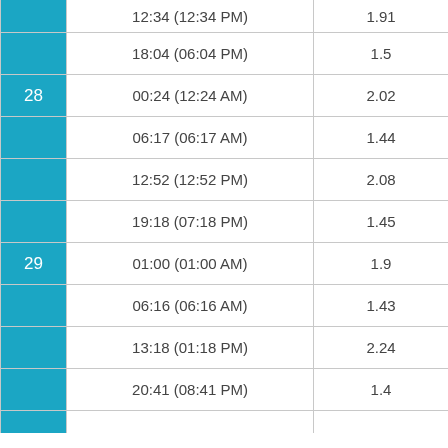| Day | Time | Value |
| --- | --- | --- |
|  | 12:34 (12:34 PM) | 1.91 |
|  | 18:04 (06:04 PM) | 1.5 |
| 28 | 00:24 (12:24 AM) | 2.02 |
|  | 06:17 (06:17 AM) | 1.44 |
|  | 12:52 (12:52 PM) | 2.08 |
|  | 19:18 (07:18 PM) | 1.45 |
| 29 | 01:00 (01:00 AM) | 1.9 |
|  | 06:16 (06:16 AM) | 1.43 |
|  | 13:18 (01:18 PM) | 2.24 |
|  | 20:41 (08:41 PM) | 1.4 |